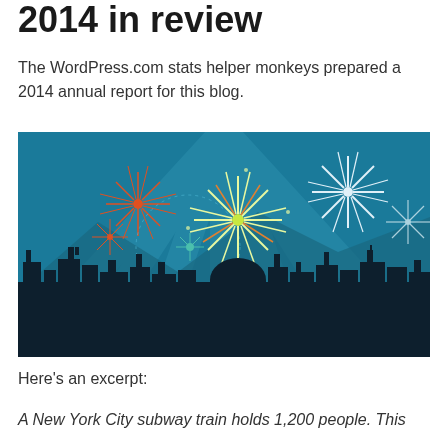2014 in review
The WordPress.com stats helper monkeys prepared a 2014 annual report for this blog.
[Figure (illustration): A city skyline illustration at night with fireworks in a teal/blue sky. Multiple fireworks burst in white, orange, and gold colors above a dark silhouetted city skyline.]
Here's an excerpt:
A New York City subway train holds 1,200 people. This